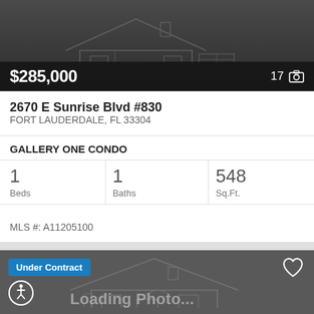[Figure (screenshot): Dark gray listing card top photo area with house sketch and price overlay showing $285,000 and 17 photos]
$285,000
17
2670 E Sunrise Blvd #830
FORT LAUDERDALE, FL 33304
GALLERY ONE CONDO
| Beds | Baths | Sq.Ft. |
| --- | --- | --- |
| 1 | 1 | 548 |
MLS #: A11205100
[Figure (screenshot): Second listing card showing Under Contract badge, heart icon, accessibility icon, house sketch placeholder, and Loading Photo... text on dark gray background]